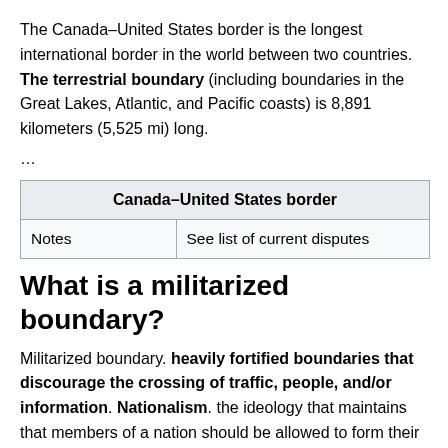The Canada–United States border is the longest international border in the world between two countries. The terrestrial boundary (including boundaries in the Great Lakes, Atlantic, and Pacific coasts) is 8,891 kilometers (5,525 mi) long.
…
| Canada–United States border |
| --- |
| Notes | See list of current disputes |
What is a militarized boundary?
Militarized boundary. heavily fortified boundaries that discourage the crossing of traffic, people, and/or information. Nationalism. the ideology that maintains that members of a nation should be allowed to form their own sovereign state.